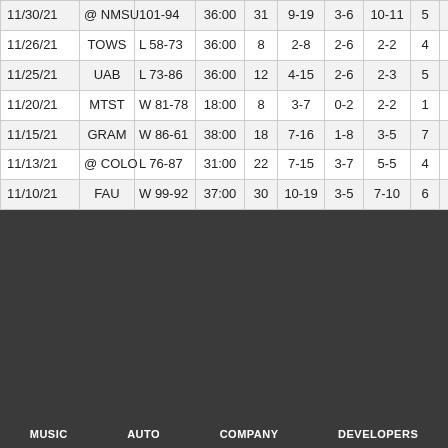| Date | Opp | Score | Min | Pts | FG | 3P | FT | Reb | Ast |
| --- | --- | --- | --- | --- | --- | --- | --- | --- | --- |
| 11/30/21 | @ NMSU | 101-94 | 36:00 | 31 | 9-19 | 3-6 | 10-11 | 5 | 4 |
| 11/26/21 | TOWS | L 58-73 | 36:00 | 8 | 2-8 | 2-6 | 2-2 | 4 | 4 |
| 11/25/21 | UAB | L 73-86 | 36:00 | 12 | 4-15 | 2-6 | 2-3 | 5 | 5 |
| 11/20/21 | MTST | W 81-78 | 18:00 | 8 | 3-7 | 0-2 | 2-2 | 1 | 2 |
| 11/15/21 | GRAM | W 86-61 | 38:00 | 18 | 7-16 | 1-8 | 3-5 | 7 | 2 |
| 11/13/21 | @ COLO | L 76-87 | 31:00 | 22 | 7-15 | 3-7 | 5-5 | 4 | 1 |
| 11/10/21 | FAU | W 99-92 | 37:00 | 30 | 10-19 | 3-5 | 7-10 | 6 | 3 |
MUSIC   AUTO   COMPANY   DEVELOPERS